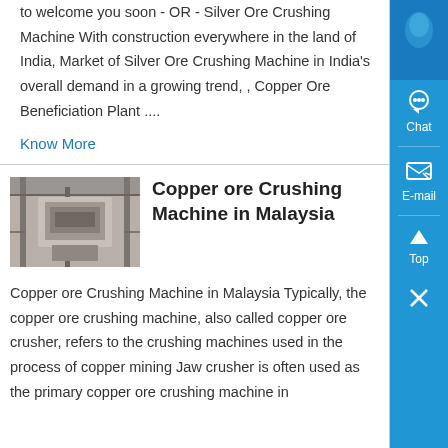to welcome you soon - OR - Silver Ore Crushing Machine With construction everywhere in the land of India, Market of Silver Ore Crushing Machine in India's overall demand in a growing trend, , Copper Ore Beneficiation Plant ....
Know More
[Figure (photo): Photo of a copper ore crushing machine interior, showing industrial machinery structure]
Copper ore Crushing Machine in Malaysia
Copper ore Crushing Machine in Malaysia Typically, the copper ore crushing machine, also called copper ore crusher, refers to the crushing machines used in the process of copper mining Jaw crusher is often used as the primary copper ore crushing machine in